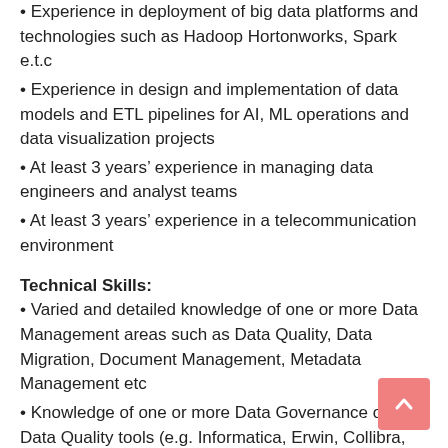• Experience in deployment of big data platforms and technologies such as Hadoop Hortonworks, Spark e.t.c
• Experience in design and implementation of data models and ETL pipelines for AI, ML operations and data visualization projects
• At least 3 years' experience in managing data engineers and analyst teams
• At least 3 years' experience in a telecommunication environment
Technical Skills:
• Varied and detailed knowledge of one or more Data Management areas such as Data Quality, Data Migration, Document Management, Metadata Management etc
• Knowledge of one or more Data Governance or Data Quality tools (e.g. Informatica, Erwin, Collibra, EDQ etc)